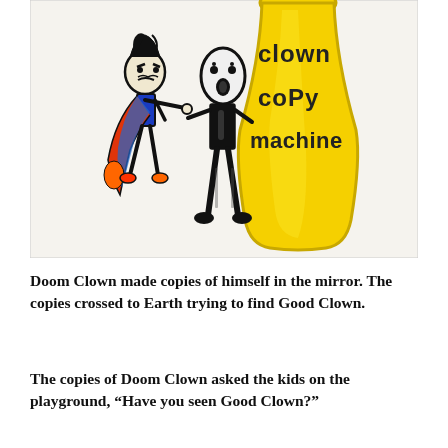[Figure (illustration): Child's crayon/marker drawing on white paper labeled 'clown copy machine'. Shows two stick-figure characters: one on the left with dark hair, angry eyes, wearing a colorful blue/orange/red outfit; one in the center with an oval head, shocked expression (dots for eyes, open O mouth), wearing all black. To the right is a large yellow funnel/tube shape. Text in marker reads 'clown copy machine' in child's handwriting.]
Doom Clown made copies of himself in the mirror. The copies crossed to Earth trying to find Good Clown.
The copies of Doom Clown asked the kids on the playground, “Have you seen Good Clown?”